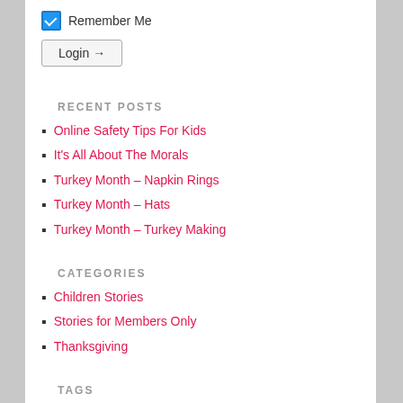Remember Me
Login →
RECENT POSTS
Online Safety Tips For Kids
It's All About The Morals
Turkey Month – Napkin Rings
Turkey Month – Hats
Turkey Month – Turkey Making
CATEGORIES
Children Stories
Stories for Members Only
Thanksgiving
TAGS
arts and crafts for kids
children and bullying  Children And Fears